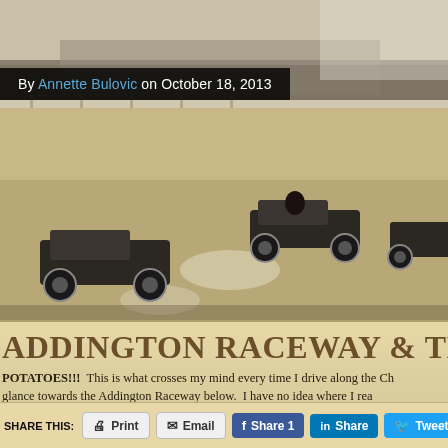[Figure (photo): Black and white / sepia historical photograph of early automobiles racing on a dirt track at Addington Raceway, with spectators visible in the background behind a fence. Multiple vintage open-wheel cars are visible, raising dust on the track.]
By Annette Bulovic on October 18, 2013
ADDINGTON RACEWAY & THE TWIG
POTATOES!!!  This is what crosses my mind every time I drive along the Ch glance towards the Addington Raceway below.  I have no idea where I rea potatoes but the thought has never left me. Inspired by The Press' article a
SHARE THIS:
Print
Email
Share 1
Share
Tweet